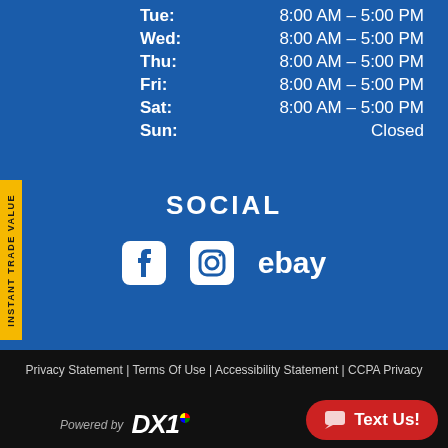Tue: 8:00 AM - 5:00 PM
Wed: 8:00 AM - 5:00 PM
Thu: 8:00 AM - 5:00 PM
Fri: 8:00 AM - 5:00 PM
Sat: 8:00 AM - 5:00 PM
Sun: Closed
SOCIAL
[Figure (logo): Facebook, Instagram, and eBay social media icons]
Privacy Statement | Terms Of Use | Accessibility Statement | CCPA Privacy
[Figure (logo): Powered by DX1 logo]
Text Us!